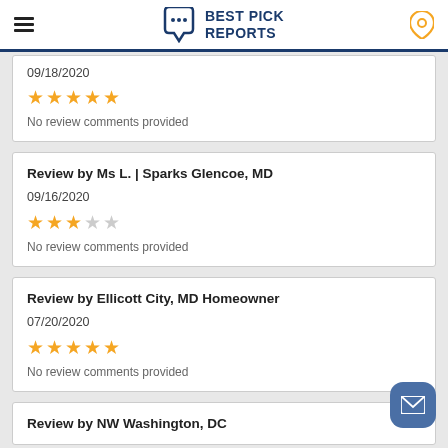Best Pick Reports
09/18/2020
★★★★★
No review comments provided
Review by Ms L. | Sparks Glencoe, MD
09/16/2020
★★★☆☆
No review comments provided
Review by Ellicott City, MD Homeowner
07/20/2020
★★★★★
No review comments provided
Review by NW Washington, DC